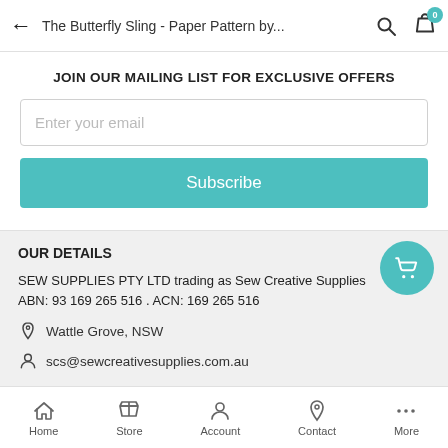The Butterfly Sling - Paper Pattern by...
JOIN OUR MAILING LIST FOR EXCLUSIVE OFFERS
Enter your email
Subscribe
OUR DETAILS
SEW SUPPLIES PTY LTD trading as Sew Creative Supplies
ABN: 93 169 265 516 . ACN: 169 265 516
Wattle Grove, NSW
scs@sewcreativesupplies.com.au
Home  Store  Account  Contact  More